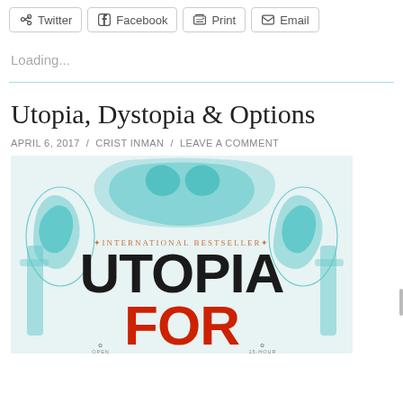Twitter  Facebook  Print  Email
Loading...
Utopia, Dystopia & Options
APRIL 6, 2017 / CRIST INMAN / LEAVE A COMMENT
[Figure (illustration): Book cover of 'Utopia for Realists' showing teal illustrated hands clasped together, with text 'INTERNATIONAL BESTSELLER', 'UTOPIA' in large black letters, and 'FOR' in large red letters at the bottom, along with decorative scroll elements.]